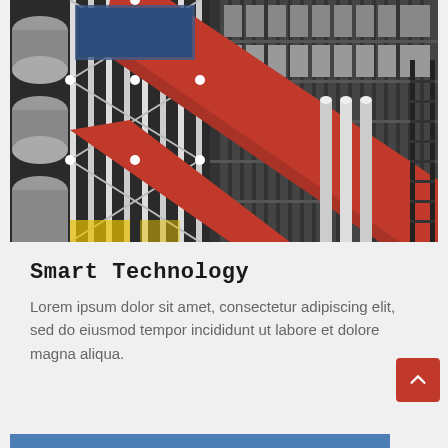[Figure (photo): Close-up architectural photo of the Centre Pompidou in Paris, showing exposed structural steel framework, red diagonal escalator tubes, cylindrical ventilation ducts, and scaffolding-like exterior.]
Smart Technology
Lorem ipsum dolor sit amet, consectetur adipiscing elit, sed do eiusmod tempor incididunt ut labore et dolore magna aliqua.